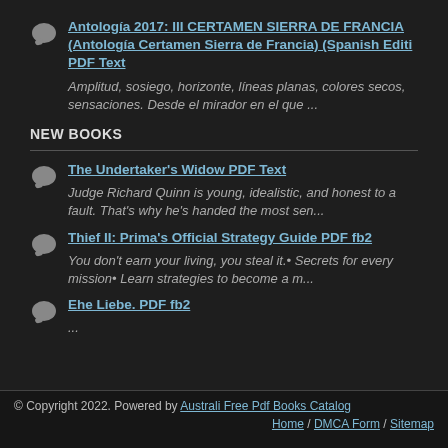Antología 2017: III CERTAMEN SIERRA DE FRANCIA (Antología Certamen Sierra de Francia) (Spanish Editi PDF Text
Amplitud, sosiego, horizonte, líneas planas, colores secos, sensaciones. Desde el mirador en el que ...
NEW BOOKS
The Undertaker's Widow PDF Text
Judge Richard Quinn is young, idealistic, and honest to a fault. That's why he's handed the most sen...
Thief II: Prima's Official Strategy Guide PDF fb2
You don't earn your living, you steal it.• Secrets for every mission• Learn strategies to become a m...
Ehe Liebe. PDF fb2
...
© Copyright 2022. Powered by Australi Free Pdf Books Catalog
Home / DMCA Form / Sitemap